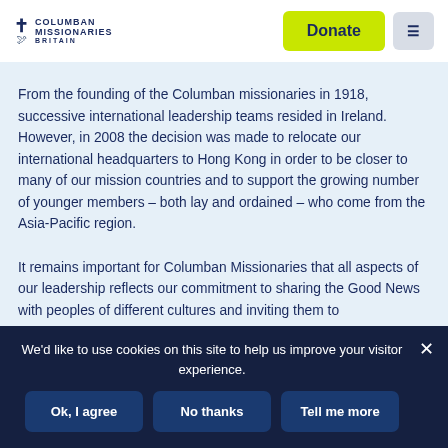[Figure (logo): Columban Missionaries Britain logo with cross symbol and text]
From the founding of the Columban missionaries in 1918, successive international leadership teams resided in Ireland. However, in 2008 the decision was made to relocate our international headquarters to Hong Kong in order to be closer to many of our mission countries and to support the growing number of younger members – both lay and ordained – who come from the Asia-Pacific region.
It remains important for Columban Missionaries that all aspects of our leadership reflects our commitment to sharing the Good News with peoples of different cultures and inviting them to
We'd like to use cookies on this site to help us improve your visitor experience.